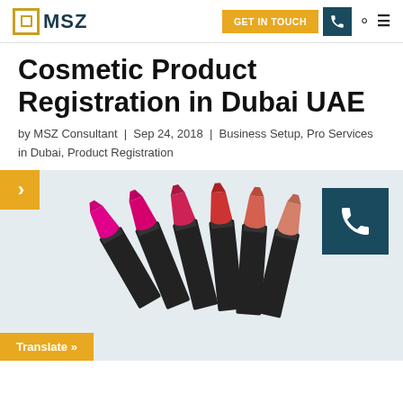MSZ | GET IN TOUCH
Cosmetic Product Registration in Dubai UAE
by MSZ Consultant | Sep 24, 2018 | Business Setup, Pro Services in Dubai, Product Registration
[Figure (photo): Row of lipstick cosmetic products arranged diagonally on a light background with a phone call button overlay and a Translate button, and a gold arrow navigation control.]